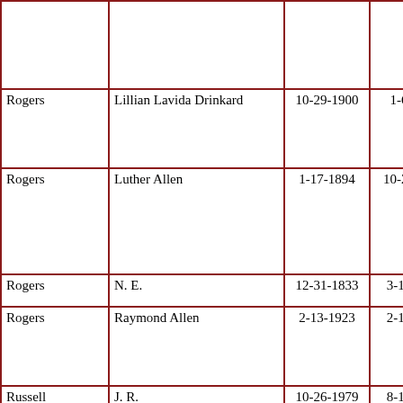| Last Name | First Name | Birth Date | Death Date | Notes |
| --- | --- | --- | --- | --- |
|  |  |  |  | no
- B
fa
br |
| Rogers | Lillian Lavida Drinkard | 10-29-1900 | 1-6-1993 | Ma
Lu
Ro
17 |
| Rogers | Luther Allen | 1-17-1894 | 10-25-1986 | Ma
Lil
La
Dr
17 |
| Rogers | N. E. | 12-31-1833 | 3-13-1906 |  |
| Rogers | Raymond Allen | 2-13-1923 | 2-13-1923 | Be
of
an
Ro |
| Russell | J. R. | 10-26-1979 | 8-18-1982 | "O
Da
So |
| Ryan | George W. | 11-6-1836 | 6-26-1909 |  |
| Ryan | Oscar W. | 5-5-1878 | 3-30-1951 | Ma
Er |